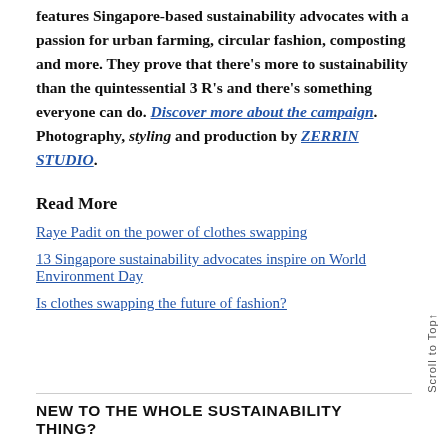features Singapore-based sustainability advocates with a passion for urban farming, circular fashion, composting and more. They prove that there's more to sustainability than the quintessential 3 R's and there's something everyone can do. Discover more about the campaign. Photography, styling and production by ZERRIN STUDIO.
Read More
Raye Padit on the power of clothes swapping
13 Singapore sustainability advocates inspire on World Environment Day
Is clothes swapping the future of fashion?
NEW TO THE WHOLE SUSTAINABILITY THING?